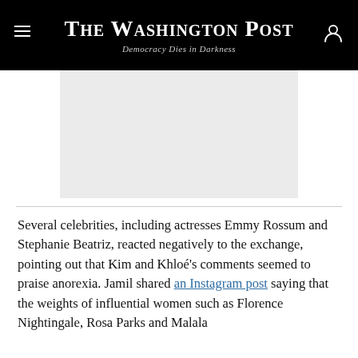The Washington Post — Democracy Dies in Darkness
[Figure (photo): Image placeholder / article photo (light gray rectangle)]
Several celebrities, including actresses Emmy Rossum and Stephanie Beatriz, reacted negatively to the exchange, pointing out that Kim and Khloé's comments seemed to praise anorexia. Jamil shared an Instagram post saying that the weights of influential women such as Florence Nightingale, Rosa Parks and Malala